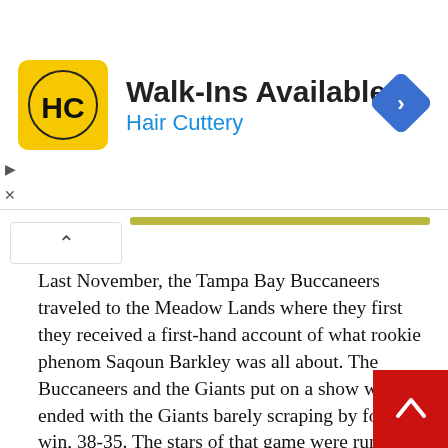[Figure (logo): Hair Cuttery advertisement banner with HC logo in yellow circle, text 'Walk-Ins Available' and 'Hair Cuttery' in blue, and a blue navigation diamond icon on the right]
Last November, the Tampa Bay Buccaneers traveled to the Meadow Lands where they first they received a first-hand account of what rookie phenom Saqoun Barkley was all about. The Buccaneers and the Giants put on a show which ended with the Giants barely scraping by for the win, 38-35. The stars of that game were running backs, Saquon Barkley and Peyton Barber, while JPP, GMAC, and Carl Nassib sacked Eli Manning 4 times. Mike Evans shined with 6 receptions for 120 yards and a TD. Winston fell 1 yard shy of 200 yards passing, but managed two TDs. He was picked off once. Manning threw for 234 yards and two TDs. Tampa failed to intercept a pass him. The big story here is Saquon Barkley and 142 ya and 2 TDs on the ground and an additional TD through the air. We cannot allow that to happen on Sunday and Arians